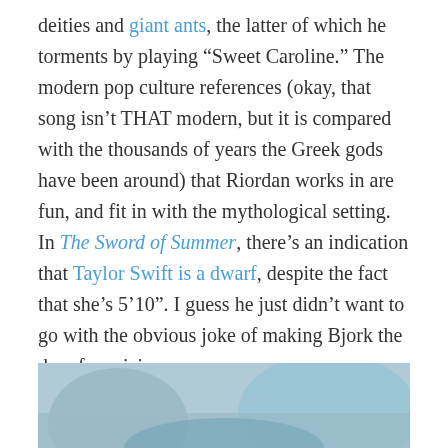deities and giant ants, the latter of which he torments by playing “Sweet Caroline.” The modern pop culture references (okay, that song isn’t THAT modern, but it is compared with the thousands of years the Greek gods have been around) that Riordan works in are fun, and fit in with the mythological setting. In The Sword of Summer, there’s an indication that Taylor Swift is a dwarf, despite the fact that she’s 5’10”. I guess he just didn’t want to go with the obvious joke of making Bjork the dwarf musician.
June 12, 2016
1 Reply
Left, Right, and Centaur
[Figure (photo): Partial view of an illustrated or painted image, appearing to show a figure with blue/teal tones visible at bottom of page.]